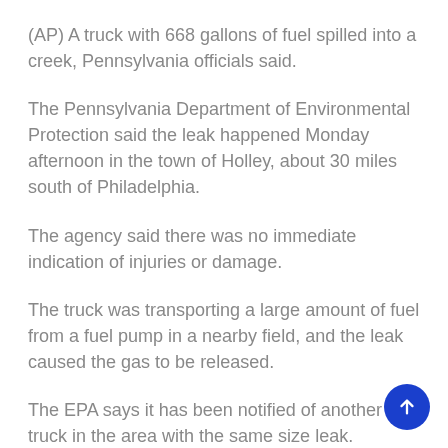(AP) A truck with 668 gallons of fuel spilled into a creek, Pennsylvania officials said.
The Pennsylvania Department of Environmental Protection said the leak happened Monday afternoon in the town of Holley, about 30 miles south of Philadelphia.
The agency said there was no immediate indication of injuries or damage.
The truck was transporting a large amount of fuel from a fuel pump in a nearby field, and the leak caused the gas to be released.
The EPA says it has been notified of another truck in the area with the same size leak.